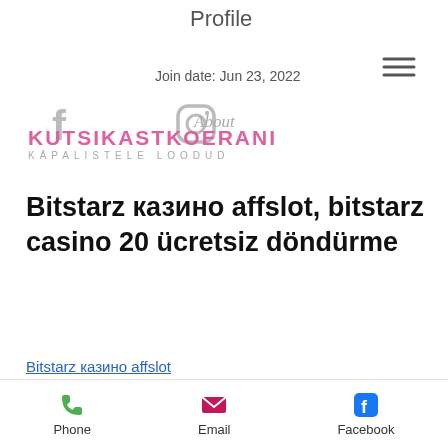Profile
Join date: Jun 23, 2022
About
KUTSIKASTKOERANI
KÄPALISTELE LOODUD
Bitstarz казино affslot, bitstarz casino 20 ücretsiz döndürme
Bitstarz казино affslot
[Figure (photo): Blurred casino-related image with colorful background]
Phone  Email  Facebook